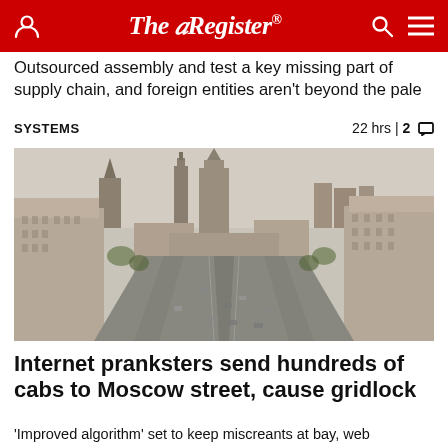The Register
Outsourced assembly and test a key missing part of supply chain, and foreign entities aren't beyond the pale
SYSTEMS   22 hrs | 2
[Figure (photo): Aerial view of a wide Moscow boulevard with Soviet-era buildings on both sides, cars on the road, and tall spired buildings in the background. Hazy cityscape.]
Internet pranksters send hundreds of cabs to Moscow street, cause gridlock
'Improved algorithm' set to keep miscreants at bay, web